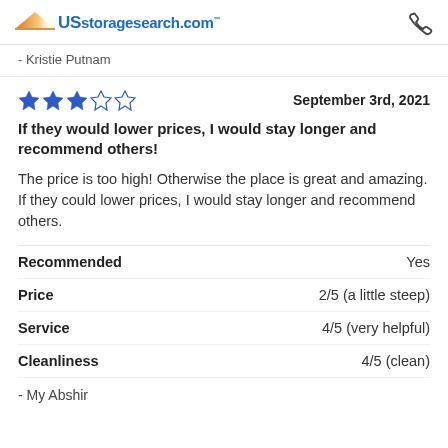USstoragesearch.com
- Kristie Putnam
★★★☆☆  September 3rd, 2021
If they would lower prices, I would stay longer and recommend others!
The price is too high! Otherwise the place is great and amazing. If they could lower prices, I would stay longer and recommend others.
| Category | Value |
| --- | --- |
| Recommended | Yes |
| Price | 2/5 (a little steep) |
| Service | 4/5 (very helpful) |
| Cleanliness | 4/5 (clean) |
- My Abshir